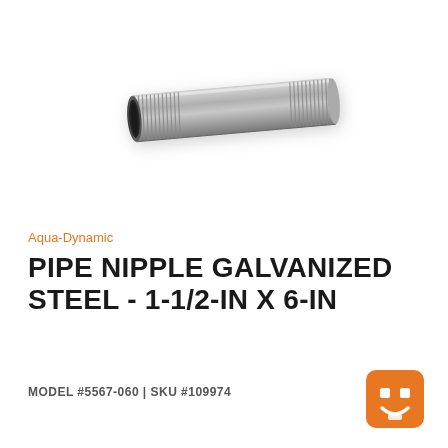[Figure (photo): Galvanized steel pipe nipple with threaded ends, shown at a slight diagonal angle against a white background. The pipe is cylindrical with threaded sections on both ends.]
Aqua-Dynamic
PIPE NIPPLE GALVANIZED STEEL - 1-1/2-IN X 6-IN
MODEL #5567-060 | SKU #109974
[Figure (logo): Orange square logo with rounded corners featuring a simple smiley face design (two square eyes and a smile), resembling a beaver or similar mascot icon.]